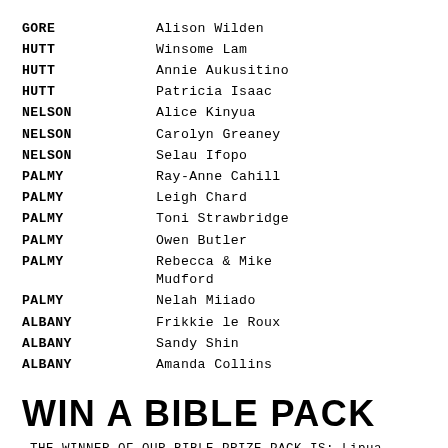| Location | Name |
| --- | --- |
| GORE | Alison Wilden |
| HUTT | Winsome Lam |
| HUTT | Annie Aukusitino |
| HUTT | Patricia Isaac |
| NELSON | Alice Kinyua |
| NELSON | Carolyn Greaney |
| NELSON | Selau Ifopo |
| PALMY | Ray-Anne Cahill |
| PALMY | Leigh Chard |
| PALMY | Toni Strawbridge |
| PALMY | Owen Butler |
| PALMY | Rebecca & Mike Mudford |
| PALMY | Nelah Miiado |
| ALBANY | Frikkie le Roux |
| ALBANY | Sandy Shin |
| ALBANY | Amanda Collins |
WIN A BIBLE PACK
-THE WINNER OF OUR BIBLE PRIZE PACK IS: Lipua